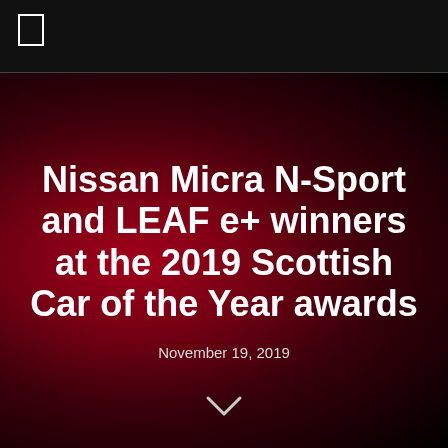Nissan Micra N-Sport and LEAF e+ winners at the 2019 Scottish Car of the Year awards
November 19, 2019